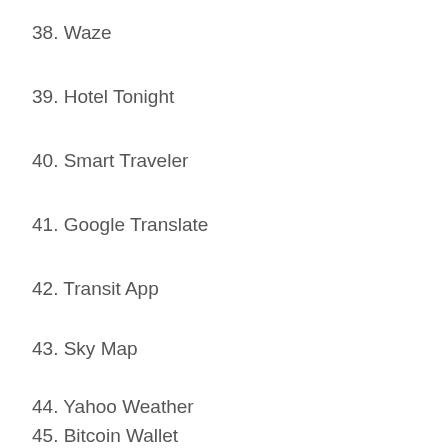38. Waze
39. Hotel Tonight
40. Smart Traveler
41. Google Translate
42. Transit App
43. Sky Map
44. Yahoo Weather
45. Bitcoin Wallet